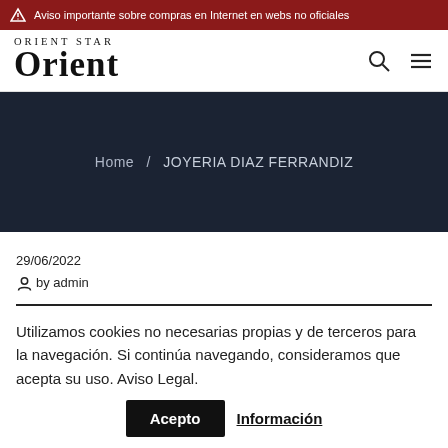Aviso importante sobre compras en Internet en webs no oficiales
[Figure (logo): Orient Star Orient logo with search and menu icons]
Home / JOYERIA DIAZ FERRANDIZ
29/06/2022
@by admin
Utilizamos cookies no necesarias propias y de terceros para la navegación. Si continúa navegando, consideramos que acepta su uso. Aviso Legal.
Acepto   Información